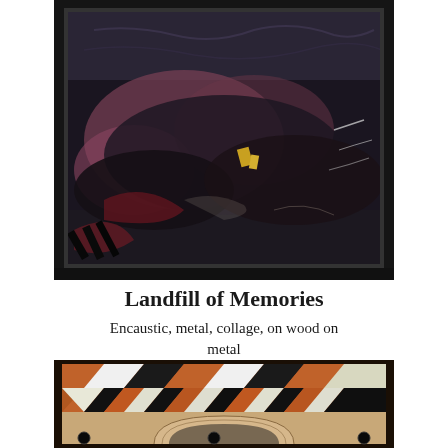[Figure (photo): Framed mixed-media artwork titled 'Landfill of Memories' — encaustic, metal, collage on wood on metal. Dark abstract textural composition with pinks, blacks, and golds in a black frame.]
Landfill of Memories
Encaustic, metal, collage, on wood on metal
24 x 24 x 1.5"
Sold
[Figure (photo): Bottom portion of a second artwork visible — featuring geometric zigzag/chevron patterns in terracotta, black, and white tones within a dark frame.]